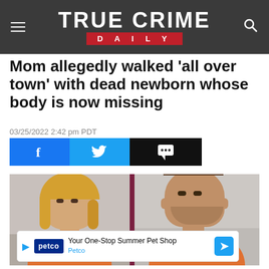TRUE CRIME DAILY
Mom allegedly walked 'all over town' with dead newborn whose body is now missing
03/25/2022 2:42 pm PDT
[Figure (screenshot): Social share buttons: Facebook (blue), Twitter (light blue), Comment (black)]
[Figure (photo): Two mugshot photos side by side: a woman with blonde hair on left, a man with short hair on right, dark purple divider between them]
Your One-Stop Summer Pet Shop
Petco